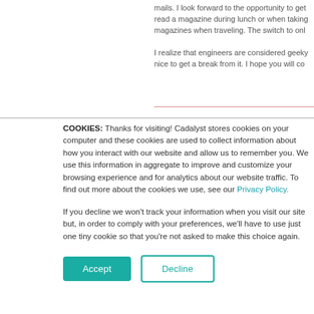mails. I look forward to the opportunity to get a chance to read a magazine during lunch or when taking a break. I read magazines when traveling. The switch to onl
I realize that engineers are considered geeky and it would be nice to get a break from it. I hope you will co
COOKIES: Thanks for visiting! Cadalyst stores cookies on your computer and these cookies are used to collect information about how you interact with our website and allow us to remember you. We use this information in aggregate to improve and customize your browsing experience and for analytics about our website traffic. To find out more about the cookies we use, see our Privacy Policy.
If you decline we won't track your information when you visit our site but, in order to comply with your preferences, we'll have to use just one tiny cookie so that you're not asked to make this choice again.